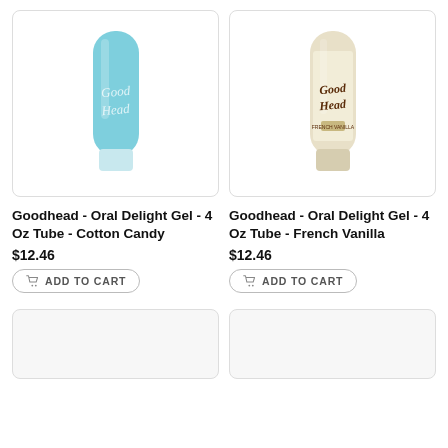[Figure (photo): Product image: Goodhead Oral Delight Gel tube in light blue, 4 oz]
[Figure (photo): Product image: Goodhead Oral Delight Gel tube in cream/beige, French Vanilla, 4 oz]
Goodhead - Oral Delight Gel - 4 Oz Tube - Cotton Candy
$12.46
ADD TO CART
Goodhead - Oral Delight Gel - 4 Oz Tube - French Vanilla
$12.46
ADD TO CART